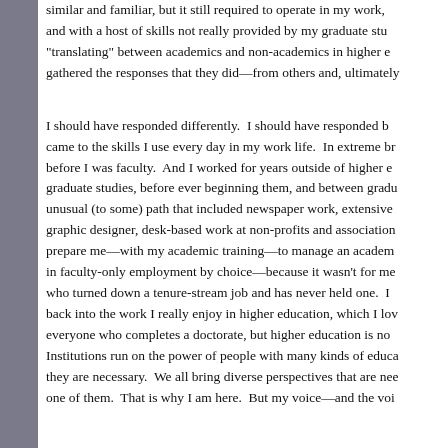similar and familiar, but it still required to operate in my work, and with a host of skills not really provided by my graduate studies. "translating" between academics and non-academics in higher education gathered the responses that they did—from others and, ultimately,
I should have responded differently. I should have responded by sharing what came to the skills I use every day in my work life. In extreme brevity: I worked before I was faculty. And I worked for years outside of higher education, before graduate studies, before ever beginning them, and between graduate programs, an unusual (to some) path that included newspaper work, extensive writing, work as graphic designer, desk-based work at non-profits and associations. All of this did prepare me—with my academic training—to manage an academic department. I am not in faculty-only employment by choice—because it wasn't for me—I am someone who turned down a tenure-stream job and has never held one. I was eventually drawn back into the work I really enjoy in higher education, which I love. I understand that everyone who completes a doctorate, but higher education is not only the faculty. Institutions run on the power of people with many kinds of educational backgrounds; they are necessary. We all bring diverse perspectives that are needed. I am one of them. That is why I am here. But my voice—and the voi